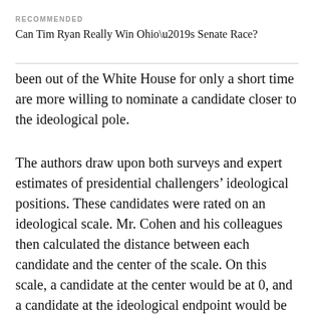RECOMMENDED
Can Tim Ryan Really Win Ohio’s Senate Race?
been out of the White House for only a short time are more willing to nominate a candidate closer to the ideological pole.
The authors draw upon both surveys and expert estimates of presidential challengers’ ideological positions. These candidates were rated on an ideological scale. Mr. Cohen and his colleagues then calculated the distance between each candidate and the center of the scale. On this scale, a candidate at the center would be at 0, and a candidate at the ideological endpoint would be at 4. The resulting measure is relative in nature; it doesn’t tell us where, exactly, the ideological center is in American politics or whether the center has itself shifted over time. But,